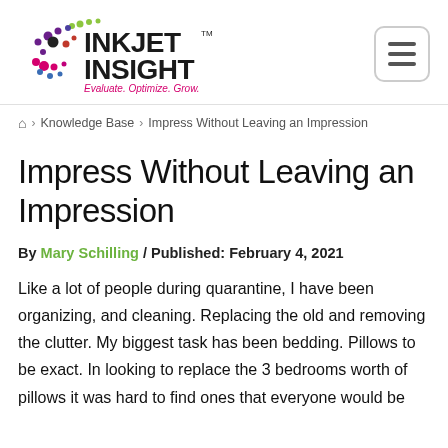Inkjet Insight — Evaluate. Optimize. Grow.
> Knowledge Base > Impress Without Leaving an Impression
Impress Without Leaving an Impression
By Mary Schilling / Published: February 4, 2021
Like a lot of people during quarantine, I have been organizing, and cleaning. Replacing the old and removing the clutter. My biggest task has been bedding. Pillows to be exact. In looking to replace the 3 bedrooms worth of pillows it was hard to find ones that everyone would be